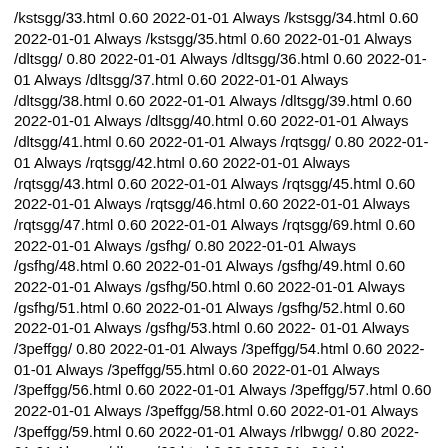/kstsgg/33.html 0.60 2022-01-01 Always /kstsgg/34.html 0.60 2022-01-01 Always /kstsgg/35.html 0.60 2022-01-01 Always /dltsgg/ 0.80 2022-01-01 Always /dltsgg/36.html 0.60 2022-01-01 Always /dltsgg/37.html 0.60 2022-01-01 Always /dltsgg/38.html 0.60 2022-01-01 Always /dltsgg/39.html 0.60 2022-01-01 Always /dltsgg/40.html 0.60 2022-01-01 Always /dltsgg/41.html 0.60 2022-01-01 Always /rqtsgg/ 0.80 2022-01-01 Always /rqtsgg/42.html 0.60 2022-01-01 Always /rqtsgg/43.html 0.60 2022-01-01 Always /rqtsgg/45.html 0.60 2022-01-01 Always /rqtsgg/46.html 0.60 2022-01-01 Always /rqtsgg/47.html 0.60 2022-01-01 Always /rqtsgg/69.html 0.60 2022-01-01 Always /gsfhg/ 0.80 2022-01-01 Always /gsfhg/48.html 0.60 2022-01-01 Always /gsfhg/49.html 0.60 2022-01-01 Always /gsfhg/50.html 0.60 2022-01-01 Always /gsfhg/51.html 0.60 2022-01-01 Always /gsfhg/52.html 0.60 2022-01-01 Always /gsfhg/53.html 0.60 2022-01-01 Always /3peffgg/ 0.80 2022-01-01 Always /3peffgg/54.html 0.60 2022-01-01 Always /3peffgg/55.html 0.60 2022-01-01 Always /3peffgg/56.html 0.60 2022-01-01 Always /3peffgg/57.html 0.60 2022-01-01 Always /3peffgg/58.html 0.60 2022-01-01 Always /3peffgg/59.html 0.60 2022-01-01 Always /rlbwgg/ 0.80 2022-01-01 Always /rlbwgg/60.html 0.60 2022-01-01 Always /rlbwgg/61.html 0.60 2022-01-01 Always /rlbwgg/62.html 0.60 2022-01-01 Always /rlbwgg/63.html 0.60 2022-01-01 Always /rlbwgg/64.html 0.60 2022-01-01 Always /rlbwgg/65.html 0.60 2022-01-01 Always